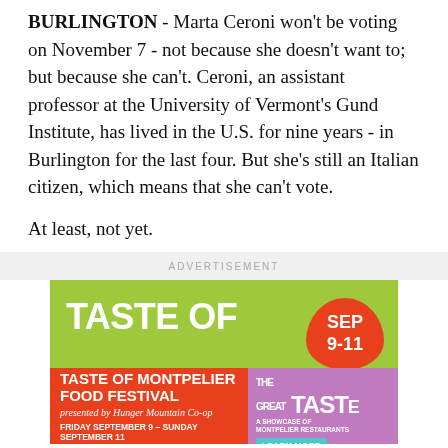BURLINGTON - Marta Ceroni won't be voting on November 7 - not because she doesn't want to; but because she can't. Ceroni, an assistant professor at the University of Vermont's Gund Institute, has lived in the U.S. for nine years - in Burlington for the last four. But she's still an Italian citizen, which means that she can't vote.
At least, not yet.
ADVERTISEMENT
[Figure (other): Taste of Montpelier advertisement banner with green background showing 'TASTE OF MONTPELIER' text and an orange badge with 'SEP 9-11']
[Figure (other): Taste of Montpelier Food Festival advertisement with orange/red background on left showing event name and dates, purple background on right showing 'The Great TASTE' logo and 'Learn More' button. Friday September 9 - Sunday September 11.]